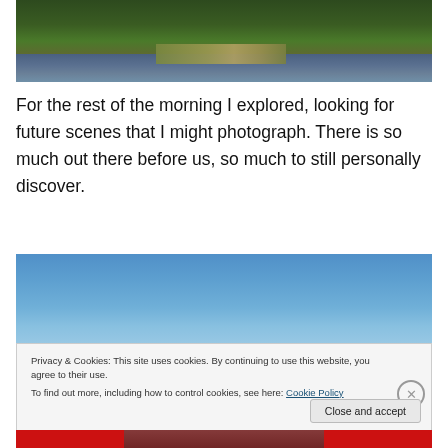[Figure (photo): Landscape photo of a river or lake with dense coniferous forest in the background and reeds/grasses in the foreground]
For the rest of the morning I explored, looking for future scenes that I might photograph. There is so much out there before us, so much to still personally discover.
[Figure (photo): Landscape photo showing a clear blue sky, likely an outdoor nature scene]
Privacy & Cookies: This site uses cookies. By continuing to use this website, you agree to their use.
To find out more, including how to control cookies, see here: Cookie Policy
Close and accept